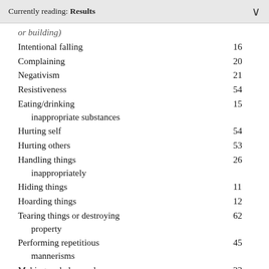Currently reading: Results
| Behavior | Value |
| --- | --- |
| or building) |  |
| Intentional falling | 16 |
| Complaining | 20 |
| Negativism | 21 |
| Resistiveness | 54 |
| Eating/drinking inappropriate substances | 15 |
| Hurting self | 54 |
| Hurting others | 53 |
| Handling things inappropriately | 26 |
| Hiding things | 11 |
| Hoarding things | 12 |
| Tearing things or destroying property | 62 |
| Performing repetitious mannerisms | 45 |
| Making verbal sexual advances | 23 |
| Making physical sexual advances | 24 |
| Making... | 28 |